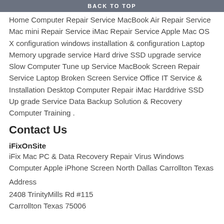BACK TO TOP
Home Computer Repair Service MacBook Air Repair Service Mac mini Repair Service iMac Repair Service Apple Mac OS X configuration windows installation & configuration Laptop Memory upgrade service Hard drive SSD upgrade service Slow Computer Tune up Service MacBook Screen Repair Service Laptop Broken Screen Service Office IT Service & Installation Desktop Computer Repair iMac Harddrive SSD Up grade Service Data Backup Solution & Recovery Computer Training .
Contact Us
iFixOnSite
iFix Mac PC & Data Recovery Repair Virus Windows Computer Apple iPhone Screen North Dallas Carrollton Texas
Address
2408 TrinityMills Rd #115
Carrollton Texas 75006